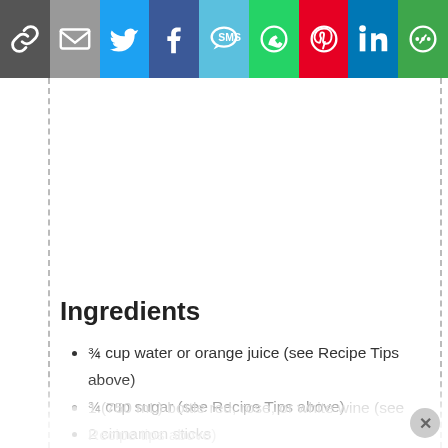[Figure (other): Social sharing toolbar with icons: link, email, Twitter, Facebook, SMS, WhatsApp, Pinterest, LinkedIn, More]
Ingredients
¾ cup water or orange juice (see Recipe Tips above)
¾ cup sugar (see Recipe Tips above)
2 cinnamon sticks
1 orange, halved
10 whole cloves
1 (750 mL) bottle red, rose, or white wine (see Recipe tips above)